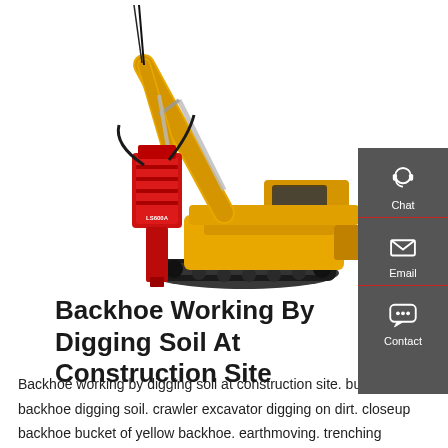[Figure (photo): Yellow crawler excavator with a red hydraulic hammer attachment, shown on a white background. The machine has a long boom arm extended upward and to the right, with a red breaker/hammer tool on the end. The excavator is on rubber/steel tracks.]
Backhoe Working By Digging Soil At Construction Site
Backhoe working by digging soil at construction site. bucket of backhoe digging soil. crawler excavator digging on dirt. closeup backhoe bucket of yellow backhoe. earthmoving. trenching machine. fahroni